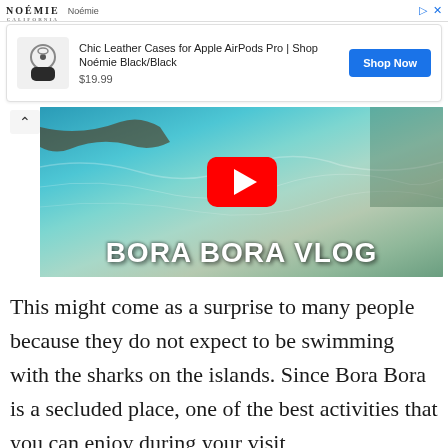[Figure (screenshot): Noémie brand advertisement banner with logo and 'Shop Now' button for Chic Leather Cases for Apple AirPods Pro priced at $19.99]
[Figure (screenshot): YouTube video thumbnail for 'BORA BORA VLOG' showing underwater/ocean scene with YouTube play button]
This might come as a surprise to many people because they do not expect to be swimming with the sharks on the islands. Since Bora Bora is a secluded place, one of the best activities that you can enjoy during your visit